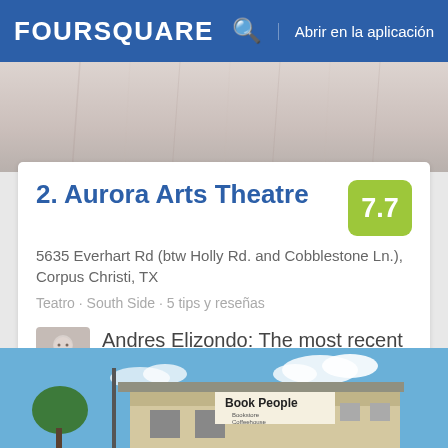FOURSQUARE  Abrir en la aplicación
[Figure (photo): Top partial photo strip showing a light pinkish-grey surface]
2. Aurora Arts Theatre
5635 Everhart Rd (btw Holly Rd. and Cobblestone Ln.), Corpus Christi, TX
Teatro · South Side · 5 tips y reseñas
Andres Elizondo: The most recent show, "Ruthless," is a riot. Plenty of great shows coming up soon, so be on the look out!
[Figure (photo): Bottom photo showing a building with a Book People sign (Bookstore Coffeehouse) against a blue sky with clouds]